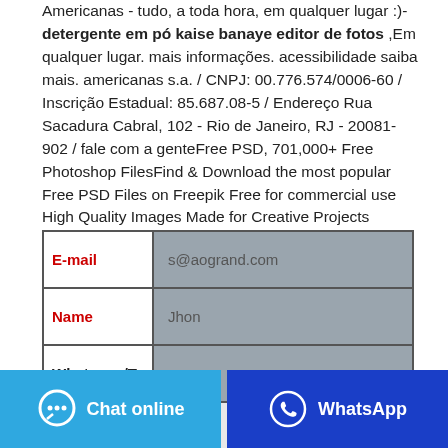Americanas - tudo, a toda hora, em qualquer lugar :)- detergente em pó kaise banaye editor de fotos ,Em qualquer lugar. mais informações. acessibilidade saiba mais. americanas s.a. / CNPJ: 00.776.574/0006-60 / Inscrição Estadual: 85.687.08-5 / Endereço Rua Sacadura Cabral, 102 - Rio de Janeiro, RJ - 20081-902 / fale com a genteFree PSD, 701,000+ Free Photoshop FilesFind & Download the most popular Free PSD Files on Freepik Free for commercial use High Quality Images Made for Creative Projects
| Label | Value |
| --- | --- |
| E-mail | s@aogrand.com |
| Name | Jhon |
| Whatsapp/Te |  |